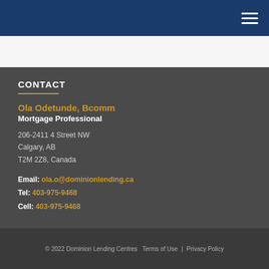Dominion Lending Centres - navigation header
CONTACT
Ola Odetunde, Bcomm
Mortgage Professional

206-2411 4 Street NW
Calgary, AB
T2M 2Z8, Canada

Email: ola.o@dominionlending.ca
Tel: 403-975-9468
Cell: 403-975-9468
© 2022 Dominion Lending Centres   Terms of Use  |  Privacy Policy